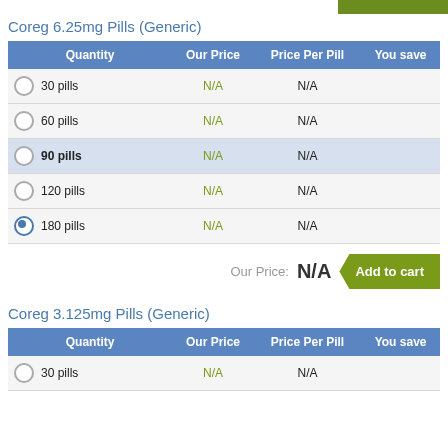Coreg 6.25mg Pills (Generic)
| Quantity | Our Price | Price Per Pill | You save |
| --- | --- | --- | --- |
| 30 pills | N/A | N/A |  |
| 60 pills | N/A | N/A |  |
| 90 pills | N/A | N/A |  |
| 120 pills | N/A | N/A |  |
| 180 pills | N/A | N/A |  |
Our Price: N/A
Coreg 3.125mg Pills (Generic)
| Quantity | Our Price | Price Per Pill | You save |
| --- | --- | --- | --- |
| 30 pills | N/A | N/A |  |